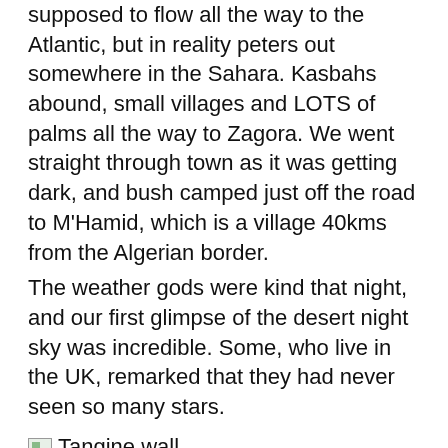supposed to flow all the way to the Atlantic, but in reality peters out somewhere in the Sahara. Kasbahs abound, small villages and LOTS of palms all the way to Zagora. We went straight through town as it was getting dark, and bush camped just off the road to M'Hamid, which is a village 40kms from the Algerian border.
The weather gods were kind that night, and our first glimpse of the desert night sky was incredible. Some, who live in the UK, remarked that they had never seen so many stars.
[Figure (photo): Small broken image icon followed by text label 'Tangine wall']
Back to Zagora in the morning, food shop, money change, and the hunt for the famous sign. "52 days to Timbuktu" by camel train. We did find it, and disappointingly it is rather uninspirational, to say the least. It's not even the original!
Back along the Draa Valley, and on to Ait-Ben Haddu. This ancient Kasbah has been the setting for such films as